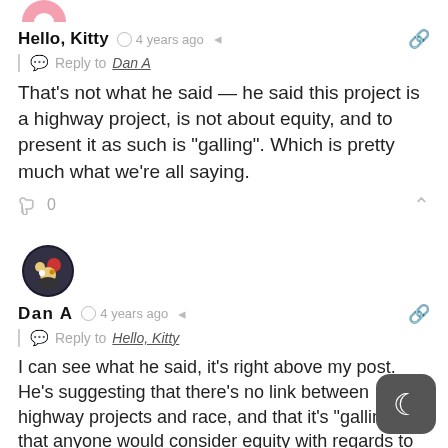[Figure (illustration): Round avatar for Hello, Kitty user (pink, partially cropped at top)]
Hello, Kitty  4 years ago
Reply to Dan A
That’s not what he said — he said this project is a highway project, is not about equity, and to present it as such is “galling”. Which is pretty much what we’re all saying.
0
[Figure (illustration): Round avatar for Dan A user (cartoon character, dark background)]
Dan A  4 years ago
Reply to Hello, Kitty
I can see what he said, it’s right above my post. He’s suggesting that there’s no link between highway projects and race, and that it’s “galling” that anyone would consider equity with regards to this project because it’s a highway project.